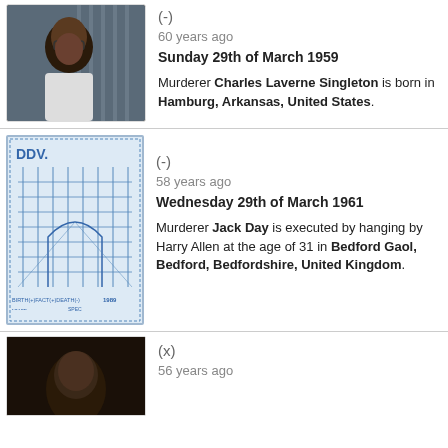[Figure (photo): Photo of Charles Laverne Singleton, a bald Black man with glasses wearing a white shirt, appearing to be in an institutional setting]
(-)
60 years ago
Sunday 29th of March 1959

Murderer Charles Laverne Singleton is born in Hamburg, Arkansas, United States.
[Figure (illustration): Blue and white illustrated postage stamp showing a building interior with arched corridors, labeled DDV. and BIRTH(+)FACT(+)DEATH(-) 1989]
(-)
58 years ago
Wednesday 29th of March 1961

Murderer Jack Day is executed by hanging by Harry Allen at the age of 31 in Bedford Gaol, Bedford, Bedfordshire, United Kingdom.
[Figure (photo): Dark portrait photo, partially visible, showing an elderly person]
(x)
56 years ago